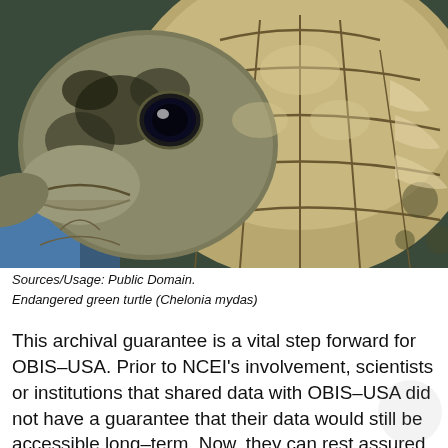[Figure (photo): Close-up photograph of an endangered green turtle (Chelonia mydas) showing its head and shell pattern with scute details. The turtle is viewed from above at close range against a blue background.]
Sources/Usage: Public Domain.
Endangered green turtle (Chelonia mydas)
This archival guarantee is a vital step forward for OBIS–USA. Prior to NCEI's involvement, scientists or institutions that shared data with OBIS–USA did not have a guarantee that their data would still be accessible long–term. Now, they can rest assured that their data and all the rest of the data held by OBIS–USA will still be accessible decades down the